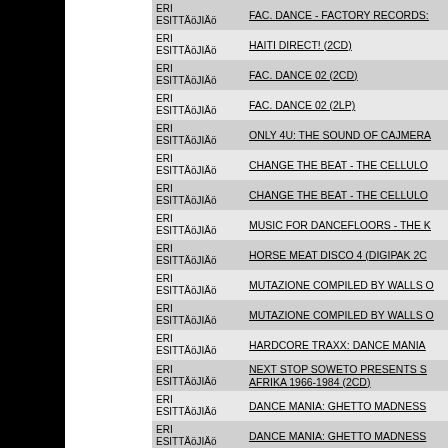| Esittäjä | Title |
| --- | --- |
| ERI ESITTÄJÄJIÄ | FAC. DANCE - FACTORY RECORDS: |
| ERI ESITTÄJÄJIÄ | HAITI DIRECT! (2CD) |
| ERI ESITTÄJÄJIÄ | FAC. DANCE 02 (2CD) |
| ERI ESITTÄJÄJIÄ | FAC. DANCE 02 (2LP) |
| ERI ESITTÄJÄJIÄ | ONLY 4U: THE SOUND OF CAJMERA |
| ERI ESITTÄJÄJIÄ | CHANGE THE BEAT - THE CELLULO |
| ERI ESITTÄJÄJIÄ | CHANGE THE BEAT - THE CELLULO |
| ERI ESITTÄJÄJIÄ | MUSIC FOR DANCEFLOORS - THE K |
| ERI ESITTÄJÄJIÄ | HORSE MEAT DISCO 4 (DIGIPAK 2C |
| ERI ESITTÄJÄJIÄ | MUTAZIONE COMPILED BY WALLS O |
| ERI ESITTÄJÄJIÄ | MUTAZIONE COMPILED BY WALLS O |
| ERI ESITTÄJÄJIÄ | HARDCORE TRAXX: DANCE MANIA |
| ERI ESITTÄJÄJIÄ | NEXT STOP SOWETO PRESENTS S AFRIKA 1966-1984 (2CD) |
| ERI ESITTÄJÄJIÄ | DANCE MANIA: GHETTO MADNESS |
| ERI ESITTÄJÄJIÄ | DANCE MANIA: GHETTO MADNESS |
| ERI ESITTÄJÄJIÄ | NEXT STOP SOWETO 4: ZULU ROCI |
| ERI ESITTÄJÄJIÄ | NEXT STOP SOWETO 4: ZULU ROCI |
| ERI ESITTÄJÄJIÄ | ALOHA GOT SOUL (CD) |